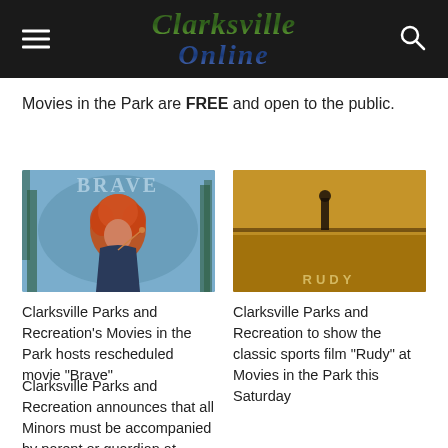Clarksville Online
Movies in the Park are FREE and open to the public.
[Figure (photo): Movie poster for Brave — animated character with curly red hair in dark forest setting with 'BRAVE' title text]
[Figure (photo): Movie poster for Rudy — person standing in field with warm golden tones and 'RUDY' title text at bottom]
Clarksville Parks and Recreation's Movies in the Park hosts rescheduled movie “Brave”
Clarksville Parks and Recreation to show the classic sports film “Rudy” at Movies in the Park this Saturday
Clarksville Parks and Recreation announces that all Minors must be accompanied by parent or guardian at Movies in the